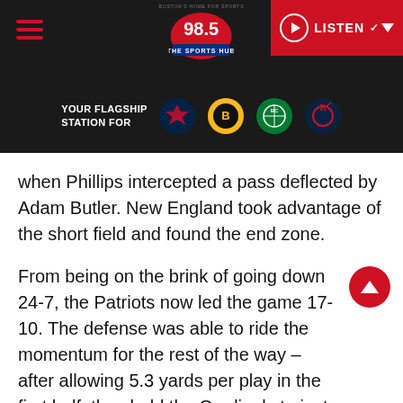98.5 The Sports Hub — YOUR FLAGSHIP STATION FOR [Patriots, Bruins, Celtics, Revolution logos]
when Phillips intercepted a pass deflected by Adam Butler. New England took advantage of the short field and found the end zone.
From being on the brink of going down 24-7, the Patriots now led the game 17-10. The defense was able to ride the momentum for the rest of the way – after allowing 5.3 yards per play in the first half, they held the Cardinals to just 3.4 yards per play in the second half.